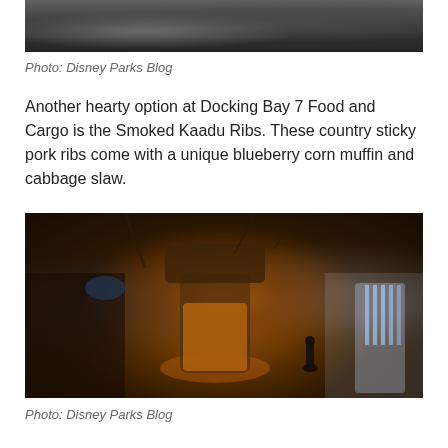[Figure (photo): Partial top of a dark industrial/sci-fi themed environment photo, showing the bottom portion of the image.]
Photo: Disney Parks Blog
Another hearty option at Docking Bay 7 Food and Cargo is the Smoked Kaadu Ribs. These country sticky pork ribs come with a unique blueberry corn muffin and cabbage slaw.
[Figure (photo): Interior concept art or photo of Docking Bay 7 Food and Cargo at Star Wars: Galaxy's Edge, showing a dramatic sci-fi themed restaurant interior with a large central column glowing with warm orange light, industrial pipes and cabling, dim atmospheric lighting, and a small figure standing near the entrance with bright light coming through doorway.]
Photo: Disney Parks Blog